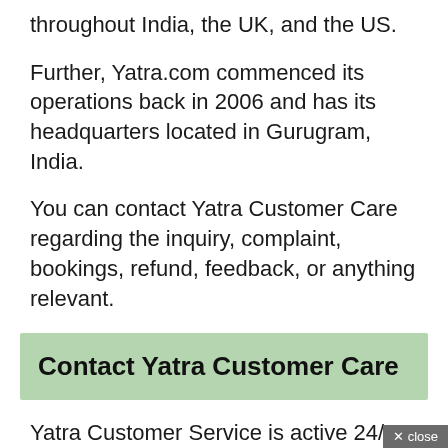throughout India, the UK, and the US.
Further, Yatra.com commenced its operations back in 2006 and has its headquarters located in Gurugram, India.
You can contact Yatra Customer Care regarding the inquiry, complaint, bookings, refund, feedback, or anything relevant.
Contact Yatra Customer Care
Yatra Customer Service is active 24/7 to assist you. Individuals can call them